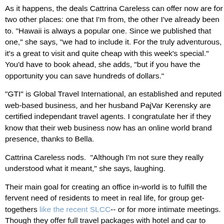As it happens, the deals Cattrina Careless can offer now are for two other places: one that I'm from, the other I've already been to. "Hawaii is always a popular one. Since we published that one," she says, "we had to include it. For the truly adventurous, it's a great to visit and quite cheap with this week's special." You'd have to book ahead, she adds, "but if you have the opportunity you can save hundreds of dollars."
"GTI" is Global Travel International, an established and reputed web-based business, and her husband PajVar Kerensky are certified independant travel agents. I congratulate her if they know that their web business now has an online world brand presence, thanks to Bella.
Cattrina Careless nods.  "Although I'm not sure they really understood what it meant," she says, laughing.
Their main goal for creating an office in-world is to fulfill the fervent need of residents to meet in real life, for group get-togethers like the recent SLCC-- or for more intimate meetings. Though they offer full travel packages with hotel and car to go with the flight, inquiries from potential clients have only asked about flights, she tells me: people know they want to go and are sure they don't need to make arrangements for accomodation, she says, grinning. "But one of the things I always recommend when moving [a relationship offline] is: have your own transport and your own accomodation. There should be no dependencies involved whenever you do meet offline." Recently someone asked her about finding a flight to meet someone in the States. "They were just considering the idea of meeting and seeing how much it would cost. It happens more than you might realize." (But then...